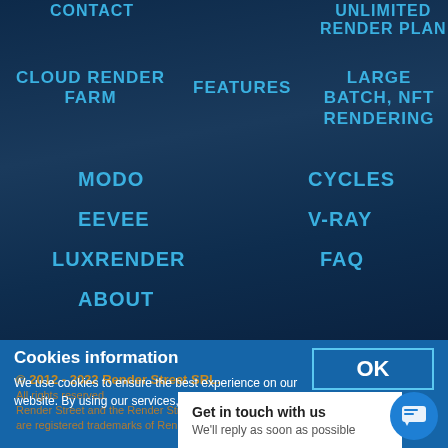CONTACT
UNLIMITED RENDER PLAN
PRICING
CLOUD RENDER FARM
FEATURES
LARGE BATCH, NFT RENDERING
MODO
CYCLES
EEVEE
V-RAY
LUXRENDER
FAQ
ABOUT
© 2012 - 2022 Render Street SRL.
All rights reserved.
Render Street and the Render Street logo
are registered trademarks of Render Street SRL
Cookies information
We use cookies to ensure the best experience on our website. By using our services, you agree to our
Get in touch with us
We'll reply as soon as possible